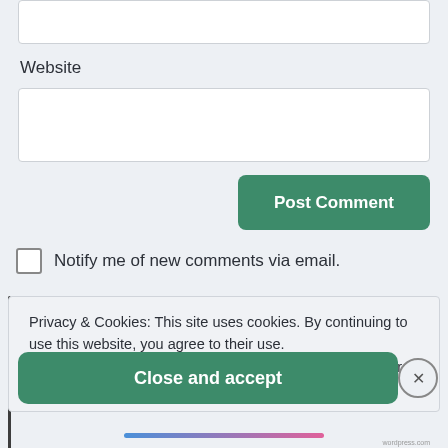[Figure (screenshot): Partial white text input box at the top of the page]
Website
[Figure (screenshot): White input field for Website URL]
[Figure (screenshot): Green 'Post Comment' button]
Notify me of new comments via email.
Privacy & Cookies: This site uses cookies. By continuing to use this website, you agree to their use.
To find out more, including how to control cookies, see here: Cookie Policy
[Figure (screenshot): Green 'Close and accept' button with X close icon]
[Figure (illustration): Bottom gradient bar from blue to pink]